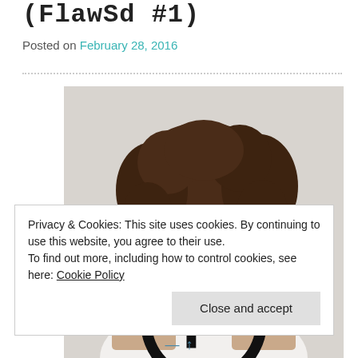(FlawSd #1)
Posted on February 28, 2016
[Figure (photo): A woman with curly hair wearing a white top, with a large circular logo featuring the letter F overlaid on the image]
Privacy & Cookies: This site uses cookies. By continuing to use this website, you agree to their use.
To find out more, including how to control cookies, see here: Cookie Policy